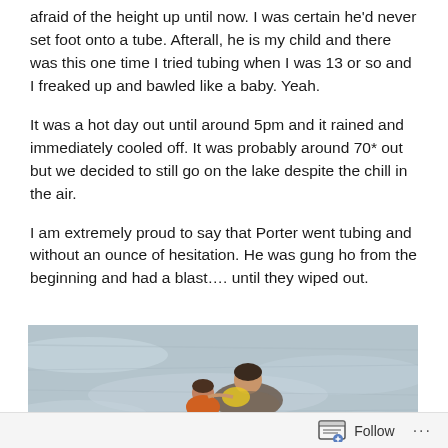afraid of the height up until now. I was certain he'd never set foot onto a tube. Afterall, he is my child and there was this one time I tried tubing when I was 13 or so and I freaked up and bawled like a baby. Yeah.
It was a hot day out until around 5pm and it rained and immediately cooled off. It was probably around 70* out but we decided to still go on the lake despite the chill in the air.
I am extremely proud to say that Porter went tubing and without an ounce of hesitation. He was gung ho from the beginning and had a blast…. until they wiped out.
[Figure (photo): Photo of two people in water after wiping out from tubing — an adult and a child wearing an orange life jacket, with grey choppy lake water surrounding them.]
Follow ...